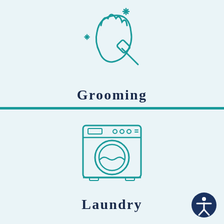[Figure (illustration): Teal outline icon of a face/head being groomed with a brush, with sparkle stars around it]
Grooming
[Figure (illustration): Teal outline icon of a washing machine with circular door and control panel]
Laundry
[Figure (illustration): Accessibility icon button - navy blue circle with white person figure]